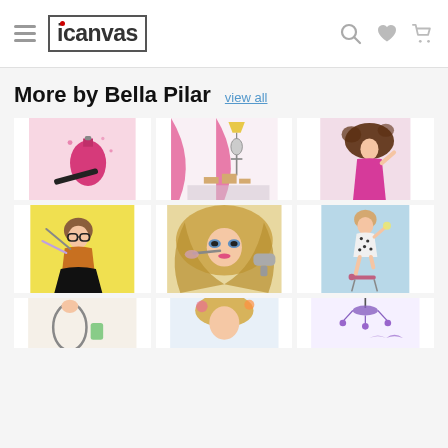icanvas — navigation header with menu, search, wishlist, cart icons
More by Bella Pilar
view all
[Figure (illustration): Illustration of pink nail polish bottle and nail file on pink background]
[Figure (illustration): Illustration of a fashion boutique/dressing room with mannequin, pink curtains, shoes and accessories]
[Figure (illustration): Illustration of a glamorous woman in pink dress with big flowing hair]
[Figure (illustration): Illustration of a stylish girl in leopard print top and black skirt with makeup brushes, yellow background]
[Figure (illustration): Illustration of a blonde girl holding a makeup brush with hair dryer, close-up beauty illustration]
[Figure (illustration): Illustration of a girl in polka dot outfit standing on a stool on blue background]
[Figure (illustration): Partial illustration visible at bottom - appears to show a figure with mirror]
[Figure (illustration): Partial illustration visible at bottom - blonde girl with flowers]
[Figure (illustration): Partial illustration visible at bottom - purple chandelier with birds]